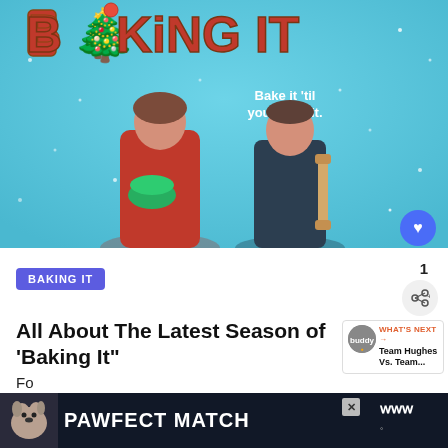[Figure (photo): Promotional image for 'Baking It' TV show with two hosts on a snowy blue background. Title 'BAKING IT' at top in decorative cookie-style letters with a Christmas tree. Tagline reads 'Bake it 'til you make it.']
BAKING IT
Bake it 'til you make it.
1
BAKING IT
All About The Latest Season of 'Baking It"
WHAT'S NEXT → Team Hughes Vs. Team...
Jul 18, 2022 • Buddy TV
[Figure (photo): Advertisement banner: PAWFECT MATCH with a dog image on dark background]
Fo...